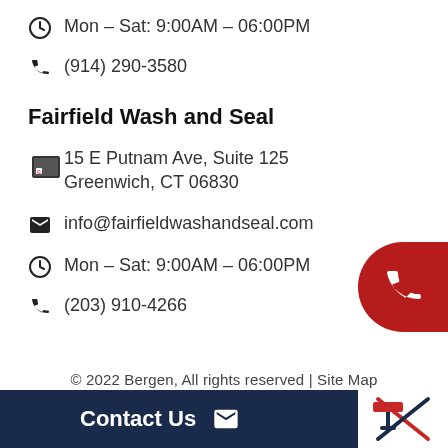Mon – Sat: 9:00AM – 06:00PM
(914) 290-3580
Fairfield Wash and Seal
15 E Putnam Ave, Suite 125
Greenwich, CT 06830
info@fairfieldwashandseal.com
Mon – Sat: 9:00AM – 06:00PM
(203) 910-4266
[Figure (illustration): Red circular phone button on the right side]
© 2022 Bergen, All rights reserved | Site Map
Contact Us